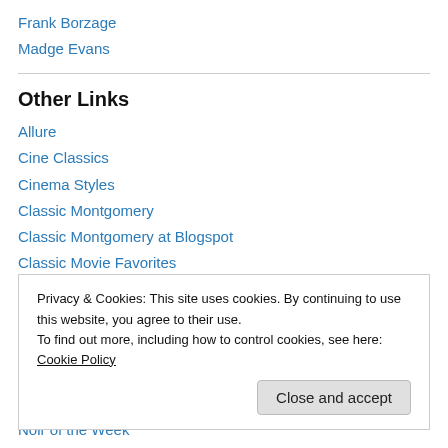Frank Borzage
Madge Evans
Other Links
Allure
Cine Classics
Cinema Styles
Classic Montgomery
Classic Montgomery at Blogspot
Classic Movie Favorites
Classic Ramblings
Privacy & Cookies: This site uses cookies. By continuing to use this website, you agree to their use.
To find out more, including how to control cookies, see here: Cookie Policy
Close and accept
Noir of the Week